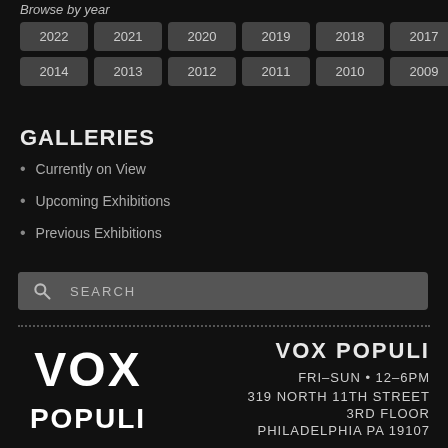Browse by year
2022 2021 2020 2019 2018 2017 2016 2015
2014 2013 2012 2011 2010 2009
GALLERIES
Currently on View
Upcoming Exhibitions
Previous Exhibitions
SEARCH
VOX POPULI
FRI–SUN • 12–6PM
319 NORTH 11TH STREET
3RD FLOOR
PHILADELPHIA PA 19107